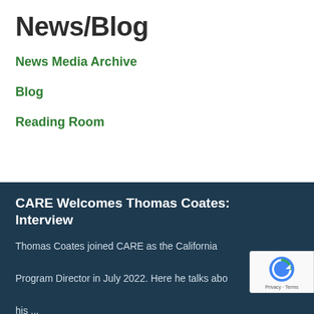News/Blog
News Media Archive
Blog
Reading Room
CARE Welcomes Thomas Coates: Interview
Thomas Coates joined CARE as the California Program Director in July 2022. Here he talks abo his ...
[Read More...]